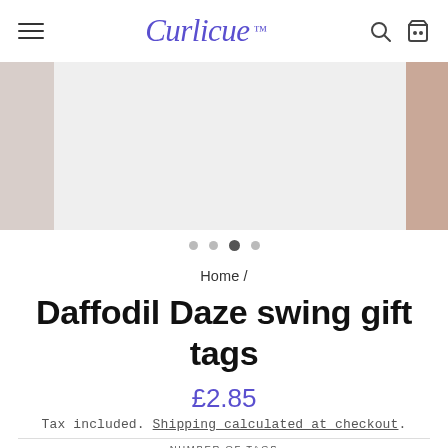Curlicue — navigation header with hamburger menu, logo, search and cart icons
[Figure (photo): Product image carousel showing daffodil gift tags; three panels visible — left partial image, large center white/light grey panel, right partial warm-toned image]
● ● ● ●  (carousel navigation dots, third dot active)
Home /
Daffodil Daze swing gift tags
£2.85
Tax included. Shipping calculated at checkout.
NUMBER OF TAGS